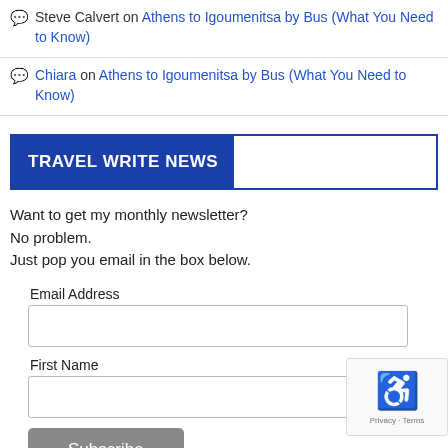Steve Calvert on Athens to Igoumenitsa by Bus (What You Need to Know)
Chiara on Athens to Igoumenitsa by Bus (What You Need to Know)
TRAVEL WRITE NEWS
Want to get my monthly newsletter?
No problem.
Just pop you email in the box below.
Email Address
First Name
Subscribe